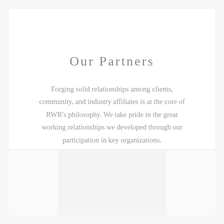Our Partners
Forging solid relationships among clients, community, and industry affiliates is at the core of RWR's philosophy. We take pride in the great working relationships we developed through our participation in key organizations.